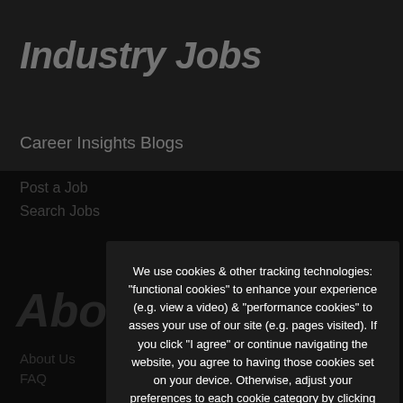Industry Jobs
Career Insights Blogs
Post a Job
Search Jobs
About
About Us
FAQ
Meet the Team
Contact
Privacy Policy
Terms of Use
We use cookies & other tracking technologies: "functional cookies" to enhance your experience (e.g. view a video) & "performance cookies" to asses your use of our site (e.g. pages visited). If you click "I agree" or continue navigating the website, you agree to having those cookies set on your device. Otherwise, adjust your preferences to each cookie category by clicking "privacy preferences".
❯ Privacy Preferences
I Agree